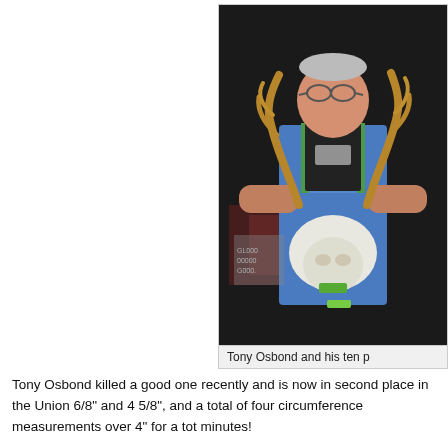[Figure (photo): A man in overalls and a black t-shirt holding a large whitetail deer rack/head at night outdoors.]
Tony Osbond and his ten p
Tony Osbond killed a good one recently and is now in second place in the Union 6/8" and 4 5/8", and a total of four circumference measurements over 4" for a tot minutes!